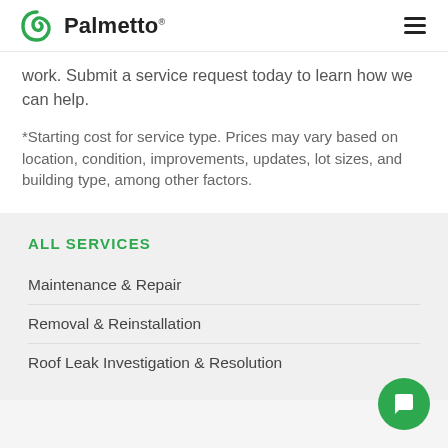Palmetto
work. Submit a service request today to learn how we can help.
*Starting cost for service type. Prices may vary based on location, condition, improvements, updates, lot sizes, and building type, among other factors.
ALL SERVICES
Maintenance & Repair
Removal & Reinstallation
Roof Leak Investigation & Resolution